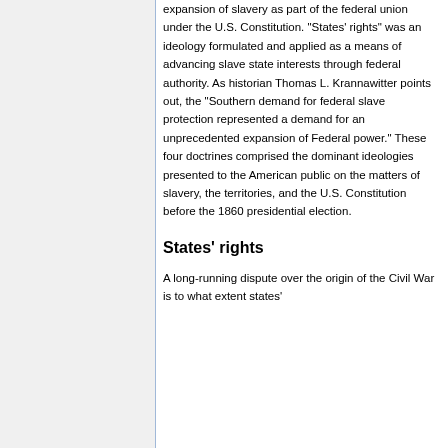expansion of slavery as part of the federal union under the U.S. Constitution. "States' rights" was an ideology formulated and applied as a means of advancing slave state interests through federal authority. As historian Thomas L. Krannawitter points out, the "Southern demand for federal slave protection represented a demand for an unprecedented expansion of Federal power." These four doctrines comprised the dominant ideologies presented to the American public on the matters of slavery, the territories, and the U.S. Constitution before the 1860 presidential election.
States' rights
A long-running dispute over the origin of the Civil War is to what extent states'